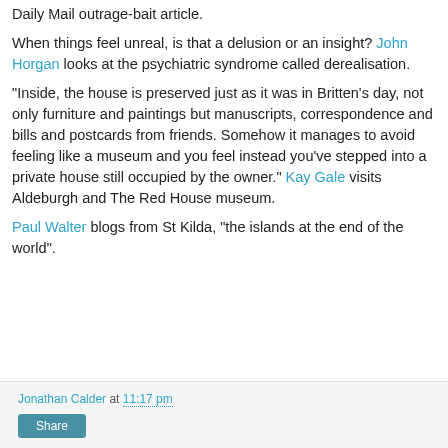Daily Mail outrage-bait article.
When things feel unreal, is that a delusion or an insight? John Horgan looks at the psychiatric syndrome called derealisation.
"Inside, the house is preserved just as it was in Britten's day, not only furniture and paintings but manuscripts, correspondence and bills and postcards from friends. Somehow it manages to avoid feeling like a museum and you feel instead you've stepped into a private house still occupied by the owner." Kay Gale visits Aldeburgh and The Red House museum.
Paul Walter blogs from St Kilda, "the islands at the end of the world".
Jonathan Calder at 11:17 pm
Share